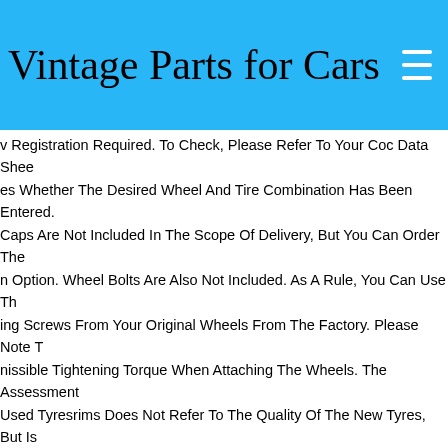Vintage Parts for Cars
v Registration Required. To Check, Please Refer To Your Coc Data Shee es Whether The Desired Wheel And Tire Combination Has Been Entered. Caps Are Not Included In The Scope Of Delivery, But You Can Order The n Option. Wheel Bolts Are Also Not Included. As A Rule, You Can Use Th ing Screws From Your Original Wheels From The Factory. Please Note T nissible Tightening Torque When Attaching The Wheels. The Assessment Used Tyresrims Does Not Refer To The Quality Of The New Tyres, But Is ed On Used-specific Standards.
inch Winter Tyres Mercedes E63 E63s T Model Amg 134012600
omplete Wheels Are Fully Assembled And Can Be Rebalanced Again On uest. Please Adjust The Air Pressure Of The Tires To The Information Giv ur Vehicle-specific Operating Instructions. For The Listed Models Is Usu v Registration Required. To Check, Please Refer To Your Coc Data Shee es Whether The Desired Wheel And Tire Combination Has Been Entered.